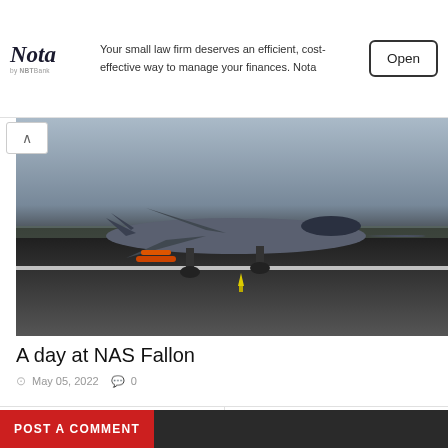[Figure (other): Nota by NBT bank advertisement banner with logo, text and Open button]
Your small law firm deserves an efficient, cost-effective way to manage your finances. Nota
[Figure (photo): Military jet fighter aircraft (F/A-18) on a runway with weapons loaded, at NAS Fallon]
A day at NAS Fallon
May 05, 2022  0
[Figure (photo): Previous article thumbnail: C-130 Hercules aircraft in flight]
◄ PREVIOUS
Austria starts looking for C-130 Hercules replacement
[Figure (photo): Next article thumbnail: Saab GlobalEye aircraft in flight]
NEXT ► UAE buys additional Saab GlobalEye surveillance systems
POST A COMMENT